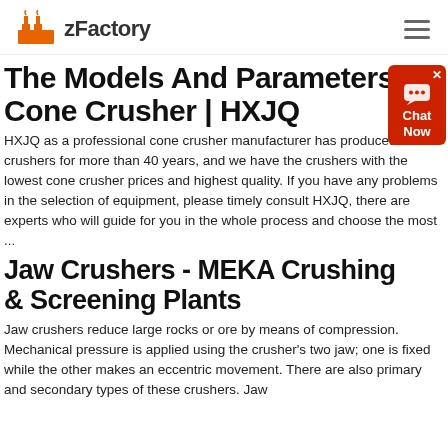zFactory
The Models And Parameters Of Cone Crusher | HXJQ
HXJQ as a professional cone crusher manufacturer has produced crushers for more than 40 years, and we have the crushers with the lowest cone crusher prices and highest quality. If you have any problems in the selection of equipment, please timely consult HXJQ, there are experts who will guide for you in the whole process and choose the most ...
Jaw Crushers - MEKA Crushing & Screening Plants
Jaw crushers reduce large rocks or ore by means of compression. Mechanical pressure is applied using the crusher's two jaw; one is fixed while the other makes an eccentric movement. There are also primary and secondary types of these crushers. Jaw